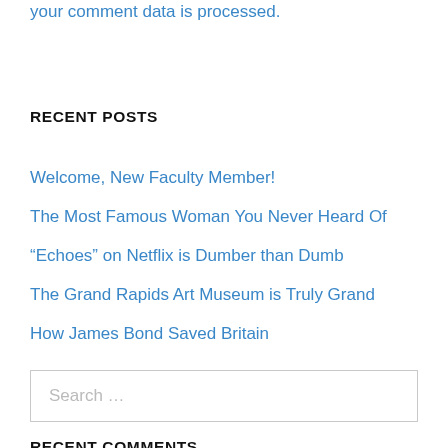your comment data is processed.
RECENT POSTS
Welcome, New Faculty Member!
The Most Famous Woman You Never Heard Of
“Echoes” on Netflix is Dumber than Dumb
The Grand Rapids Art Museum is Truly Grand
How James Bond Saved Britain
Search …
RECENT COMMENTS
Leigh Ann Wallace on Welcome, New Faculty Member!